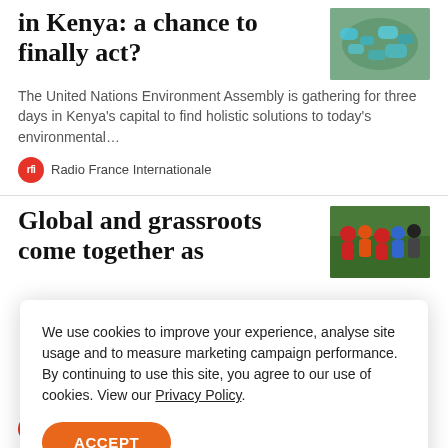in Kenya: a chance to finally act?
[Figure (photo): Pile of plastic waste/bottles, aerial or close-up view]
The United Nations Environment Assembly is gathering for three days in Kenya's capital to find holistic solutions to today's environmental...
Radio France Internationale
Global and grassroots come together as
[Figure (photo): Group of people, smiling, outdoors, wearing colorful clothing]
We use cookies to improve your experience, analyse site usage and to measure marketing campaign performance. By continuing to use this site, you agree to our use of cookies. View our Privacy Policy.
ACCEPT
Radio France Internationale